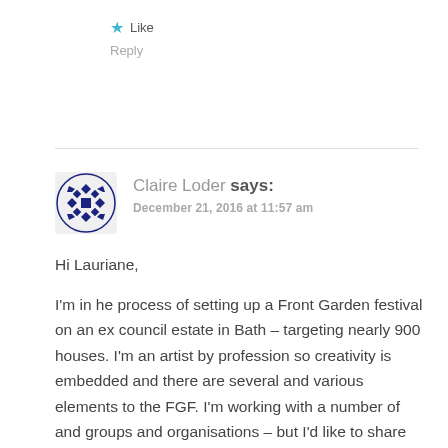★ Like
Reply
Claire Loder says:
December 21, 2016 at 11:57 am
Hi Lauriane,

I'm in he process of setting up a Front Garden festival on an ex council estate in Bath – targeting nearly 900 houses. I'm an artist by profession so creativity is embedded and there are several and various elements to the FGF. I'm working with a number of and groups and organisations – but I'd like to share what